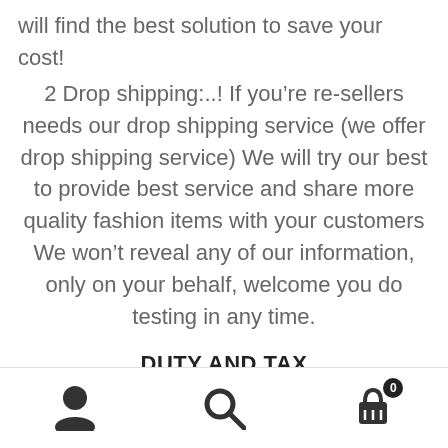will find the best solution to save your cost!
2 Drop shipping:..! If you’re re-sellers needs our drop shipping service (we offer drop shipping service) We will try our best to provide best service and share more quality fashion items with your customers We won’t reveal any of our information, only on your behalf, welcome you do testing in any time.
DUTY AND TAX